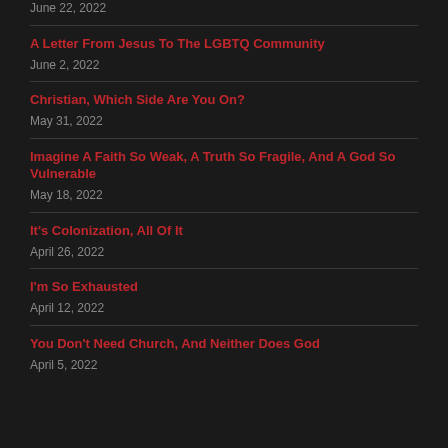June 22, 2022
A Letter From Jesus To The LGBTQ Community
June 2, 2022
Christian, Which Side Are You On?
May 31, 2022
Imagine A Faith So Weak, A Truth So Fragile, And A God So Vulnerable
May 18, 2022
It's Colonization, All Of It
April 26, 2022
I'm So Exhausted
April 12, 2022
You Don't Need Church, And Neither Does God
April 5, 2022